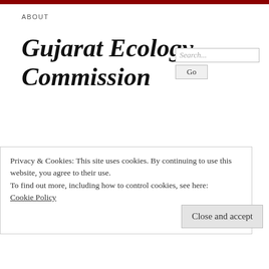ABOUT
Gujarat Ecology Commission
23 Monday Nov 2015
Stakeholder consultations for
Privacy & Cookies: This site uses cookies. By continuing to use this website, you agree to their use.
To find out more, including how to control cookies, see here:
Cookie Policy
Close and accept